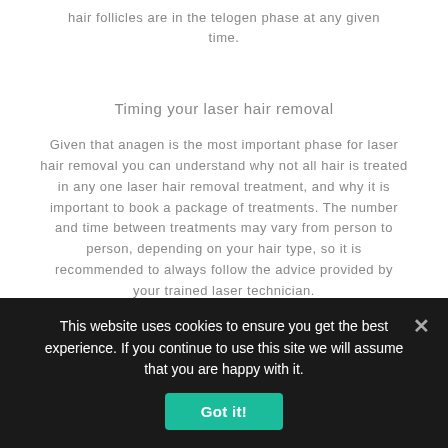hair follicles are in the telogen phase at any given time.
Timing your laser hair removal
Given that anagen is the most important phase for laser hair removal you can understand why not all hair is treated in any one laser hair removal treatment, and why it is important to book a package of treatments. The number and time between treatments may vary from person to person, depending on your hair type, so it is recommended to always follow the advice provided by your trained laser technician.
This website uses cookies to ensure you get the best experience. If you continue to use this site we will assume that you are happy with it.